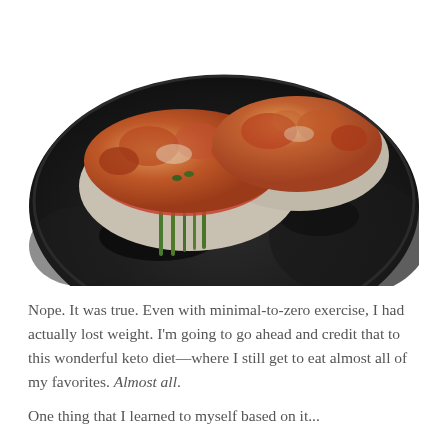[Figure (photo): Close-up photo of stuffed chicken breasts topped with melted cheese, tomato sauce, and asparagus, cooking in a dark cast iron skillet.]
Nope. It was true. Even with minimal-to-zero exercise, I had actually lost weight. I'm going to go ahead and credit that to this wonderful keto diet—where I still get to eat almost all of my favorites. Almost all.
One thing that I learned to myself based on it...